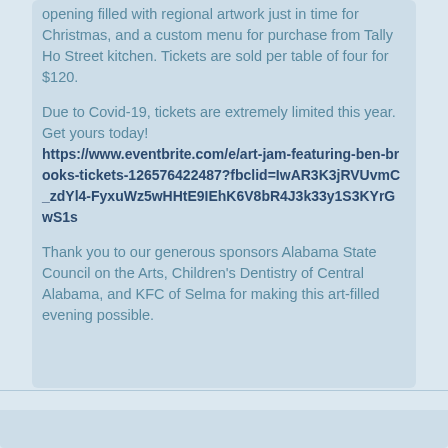opening filled with regional artwork just in time for Christmas, and a custom menu for purchase from Tally Ho Street kitchen. Tickets are sold per table of four for $120.
Due to Covid-19, tickets are extremely limited this year. Get yours today! https://www.eventbrite.com/e/art-jam-featuring-ben-brooks-tickets-126576422487?fbclid=IwAR3K3jRVUvmC_zdYl4-FyxuWz5wHHtE9IEhK6V8bR4J3k33y1S3KYrGwS1s
Thank you to our generous sponsors Alabama State Council on the Arts, Children's Dentistry of Central Alabama, and KFC of Selma for making this art-filled evening possible.